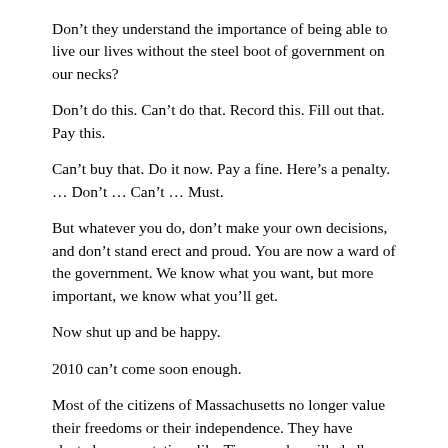Don’t they understand the importance of being able to live our lives without the steel boot of government on our necks?
Don’t do this. Can’t do that. Record this. Fill out that. Pay this.
Can’t buy that. Do it now. Pay a fine. Here’s a penalty. … Don’t … Can’t … Must.
But whatever you do, don’t make your own decisions, and don’t stand erect and proud. You are now a ward of the government. We know what you want, but more important, we know what you’ll get.
Now shut up and be happy.
2010 can’t come soon enough.
Most of the citizens of Massachusetts no longer value their freedoms or their independence. They have elected representatives like Tierney who will gladly trade all our liberties for a few handouts. The risks and challenges of life are too much for them. They prefer a